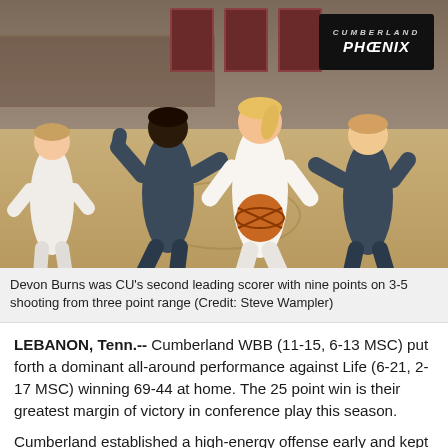[Figure (photo): Women's basketball game action photo showing a Cumberland player in white uniform holding a basketball while being defended by two Life University players in dark uniforms. The gym shows a Phoenix logo banner on the wall in the background.]
Devon Burns was CU's second leading scorer with nine points on 3-5 shooting from three point range (Credit: Steve Wampler)
LEBANON, Tenn.-- Cumberland WBB (11-15, 6-13 MSC) put forth a dominant all-around performance against Life (6-21, 2-17 MSC) winning 69-44 at home. The 25 point win is their greatest margin of victory in conference play this season.
Cumberland established a high-energy offense early and kept it that way through the entire first quarter. Tyra